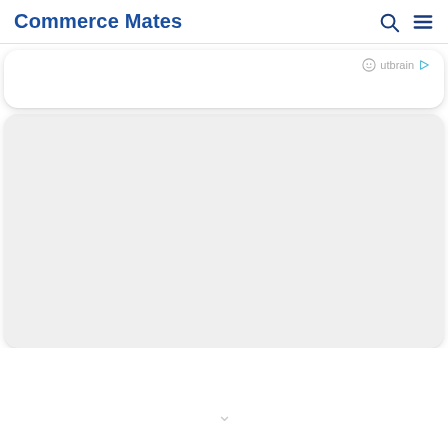Commerce Mates
[Figure (other): Advertisement card area with Outbrain label (face emoji icon and play triangle icon) in top right, rounded white card with shadow]
[Figure (other): Large light grey rounded card area, main advertisement content placeholder]
v